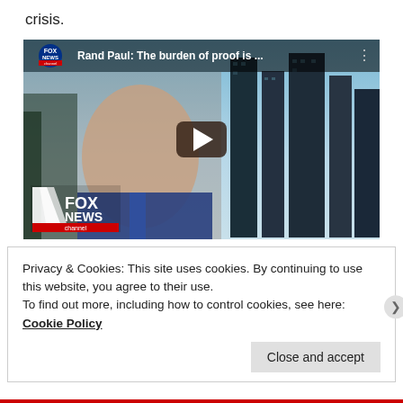crisis.
[Figure (screenshot): Embedded YouTube video thumbnail showing a Fox News segment titled 'Rand Paul: The burden of proof is ...' with a man in a blue suit appearing on screen and a Fox News channel logo in the bottom left corner. A play button is visible in the center.]
Privacy & Cookies: This site uses cookies. By continuing to use this website, you agree to their use.
To find out more, including how to control cookies, see here: Cookie Policy
Close and accept